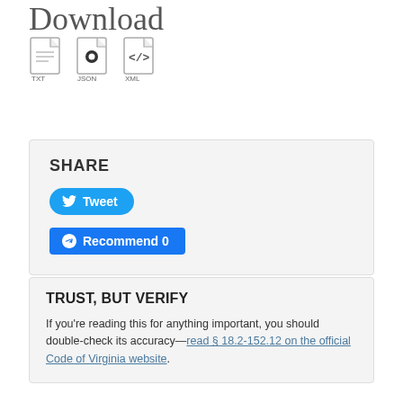Download
[Figure (illustration): Three file type icons: TXT, JSON, XML]
SHARE
Tweet
Recommend 0
TRUST, BUT VERIFY
If you're reading this for anything important, you should double-check its accuracy—read § 18.2-152.12 on the official Code of Virginia website.